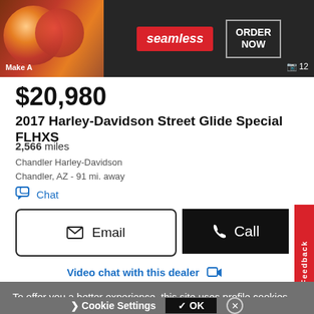[Figure (screenshot): Seamless food delivery advertisement banner with pizza photo, Seamless logo in red, and ORDER NOW button]
$20,980
2017 Harley-Davidson Street Glide Special FLHXS
2,566 miles
Chandler Harley-Davidson
Chandler, AZ - 91 mi. away
Chat
Email
Call
Feedback
Video chat with this dealer
To offer you a better experience, this site uses profile cookies, even from third parties. By continuing to use this website you consent to the use of cookies. For more information or to select your preferences consult our Privacy Policy
Cookie Settings
✓ OK